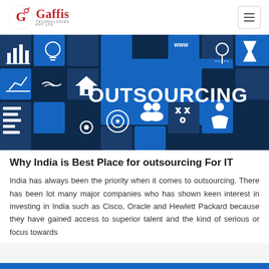Gaffis Technologies Pvt Ltd
[Figure (illustration): Dark blue background with blue tile grid showing various white icons (handshake, house, lightbulb, chart, www, etc.) and large white bold text reading OUTSOURCING in the center]
Why India is Best Place for outsourcing For IT
India has always been the priority when it comes to outsourcing. There has been lot many major companies who has shown keen interest in investing in India such as Cisco, Oracle and Hewlett Packard because they have gained access to superior talent and the kind of serious or focus towards